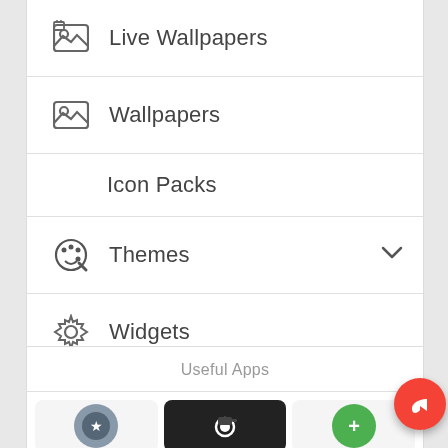Live Wallpapers
Wallpapers
Icon Packs
Themes
Widgets
Phones
Useful Apps
[Figure (screenshot): Row of three app icons at the bottom]